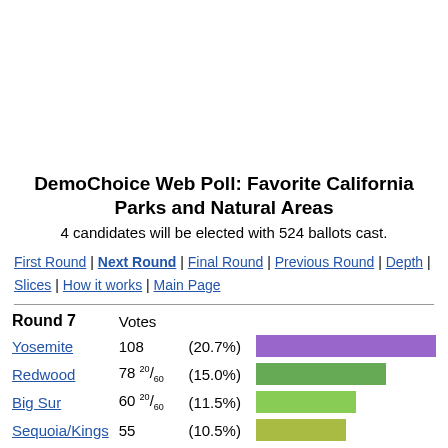DemoChoice Web Poll: Favorite California Parks and Natural Areas
4 candidates will be elected with 524 ballots cast.
First Round | Next Round | Final Round | Previous Round | Depth | Slices | How it works | Main Page
| Round 7 | Votes |  |  |
| --- | --- | --- | --- |
| Yosemite | 108 | (20.7%) | bar |
| Redwood | 78 20/60 | (15.0%) | bar |
| Big Sur | 60 20/60 | (11.5%) | bar |
| Sequoia/Kings | 55 | (10.5%) | bar |